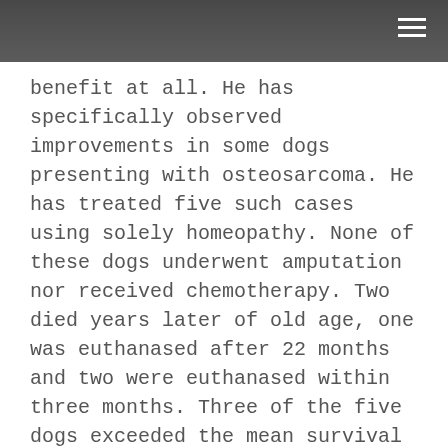benefit at all. He has specifically observed improvements in some dogs presenting with osteosarcoma. He has treated five such cases using solely homeopathy. None of these dogs underwent amputation nor received chemotherapy. Two died years later of old age, one was euthanased after 22 months and two were euthanased within three months. Three of the five dogs exceeded the mean survival times of dogs which received amputation and chemotherapy, although the dogs treated received only pain relief for a short period. Two of these three dogs went into complete remission. These anecdotal results suggest treatment from a homeopath might offer an